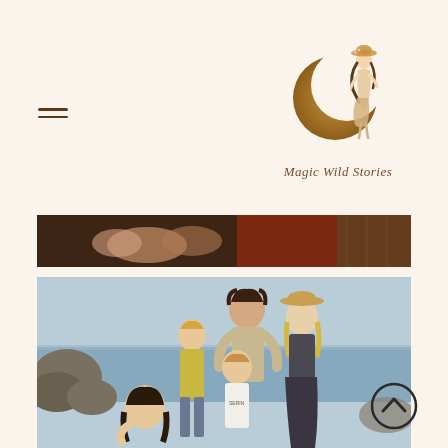[Figure (logo): Magic Wild Stories logo: crescent moon with illustrated girl in a hat and dress, cursive text 'Magic Wild Stories' below]
[Figure (photo): Narrow horizontal strip photo showing a newborn baby and warm-toned fabric/blanket]
[Figure (photo): Family portrait photo at a rocky seaside: father with dark hair, two blonde boys, a woman in a hat (woman leaning close), and a dark-haired girl in foreground, ocean and rocks in background]
[Figure (other): Scroll-to-top button: dark circle with upward chevron arrow]